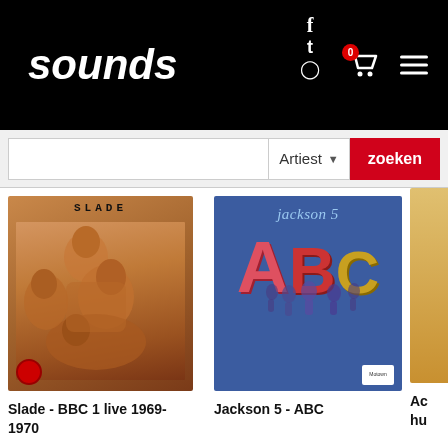sounds
[Figure (screenshot): Search bar with Artiest dropdown and zoeken (search) button]
[Figure (photo): Slade BBC 1 live 1969-1970 album cover - sepia toned photo of four band members]
Slade -  BBC 1 live 1969-1970
[Figure (photo): Jackson 5 ABC album cover - blue background with large colorful ABC letters]
Jackson 5 - ABC